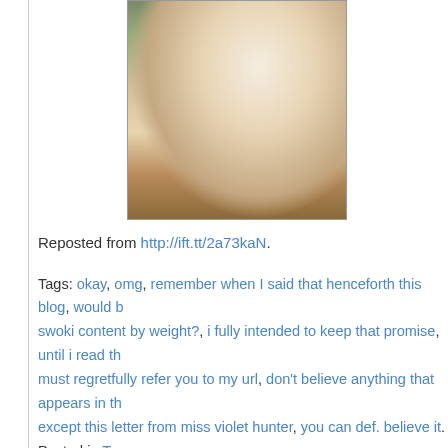[Figure (photo): A classical painting of a woman in a white dress and dark bodice, writing with a quill pen at a desk]
Reposted from http://ift.tt/2a73kaN.
Tags: okay, omg, remember when I said that henceforth this blog, would be swoki content by weight?, i fully intended to keep that promise, until i read th... must regretfully refer you to my url, don't believe anything that appears in th... except this letter from miss violet hunter, you can def. believe it. Posted in T... jbc | Permalink | No Comments »